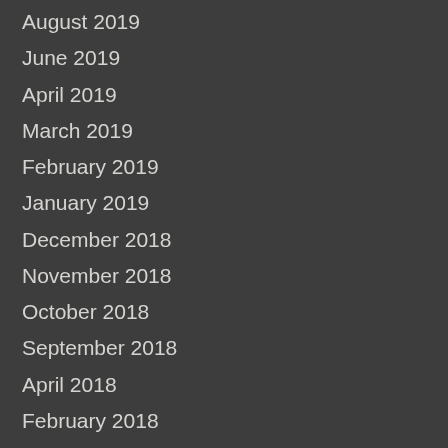August 2019
June 2019
April 2019
March 2019
February 2019
January 2019
December 2018
November 2018
October 2018
September 2018
April 2018
February 2018
January 2018